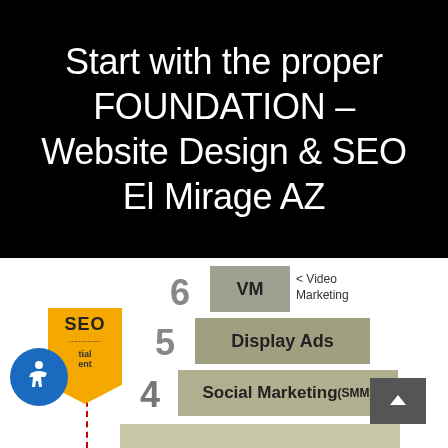Start with the proper FOUNDATION – Website Design & SEO El Mirage AZ
[Figure (infographic): Marketing pyramid layers showing numbered steps: 6 VM (Video Marketing), 5 Display Ads, 4 Social Marketing (SMM), with partial bottom layer. SEO badge on left, accessibility icon, scroll-up button.]